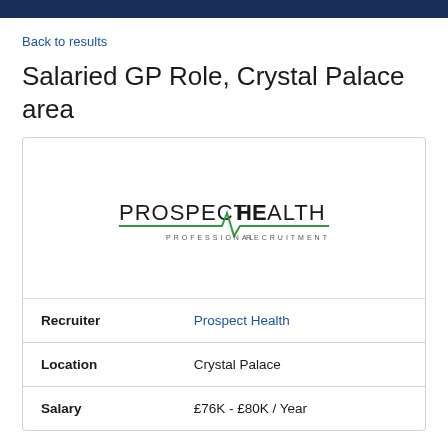Back to results
Salaried GP Role, Crystal Palace area
[Figure (logo): Prospect Health Professional Recruitment logo — company name in large letters with a green heartbeat/ECG line design, text reads PROSPECTHEALTH PROFESSIONAL RECRUITMENT]
| Field | Value |
| --- | --- |
| Recruiter | Prospect Health |
| Location | Crystal Palace |
| Salary | £76K - £80K / Year |